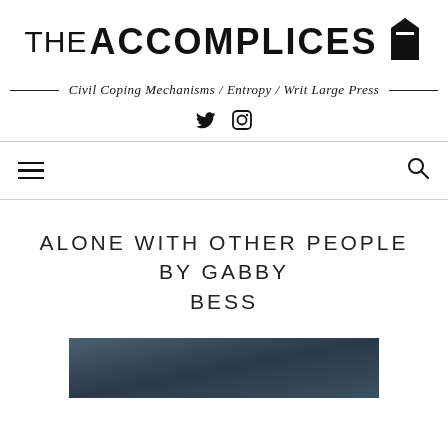THE ACCOMPLICES
Civil Coping Mechanisms / Entropy / Writ Large Press
[Figure (logo): Twitter and Instagram social media icons]
[Figure (infographic): Hamburger menu icon on left, search icon on right — navigation bar]
ALONE WITH OTHER PEOPLE BY GABBY BESS
[Figure (photo): Partially visible dark blue/teal toned photo at bottom of page]